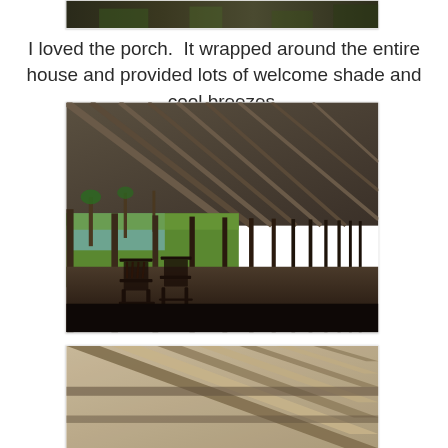[Figure (photo): Partial view of a landscape photo at the top of the page, cropped — showing the bottom edge of a natural outdoor scene.]
I loved the porch.  It wrapped around the entire house and provided lots of welcome shade and cool breezes.
[Figure (photo): Interior view of a long wraparound porch with wooden rafter ceiling, dark wood rocking chairs in the foreground, columns, and a green lawn with palm trees visible outside.]
[Figure (photo): Close-up view of the porch ceiling showing wooden rafters and diagonal beam construction, partially visible at the bottom of the page.]